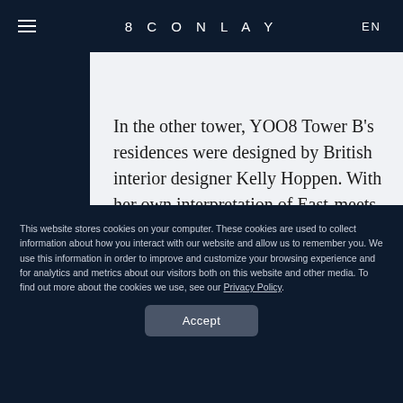8CONLAY   EN
In the other tower, YOO8 Tower B's residences were designed by British interior designer Kelly Hoppen. With her own interpretation of East-meets-West, she curated two concepts: The first, Urban, fuses
This website stores cookies on your computer. These cookies are used to collect information about how you interact with our website and allow us to remember you. We use this information in order to improve and customize your browsing experience and for analytics and metrics about our visitors both on this website and other media. To find out more about the cookies we use, see our Privacy Policy.
Accept